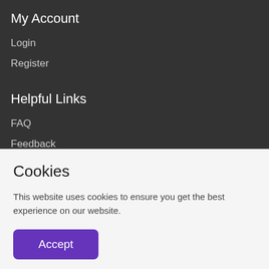My Account
Login
Register
Helpful Links
FAQ
Feedback
Cookies
This website uses cookies to ensure you get the best experience on our website.
Accept